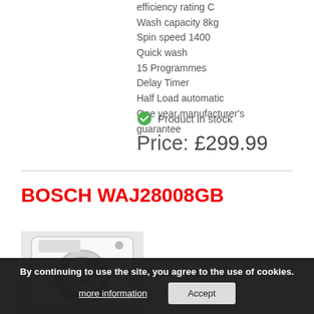efficiency rating C
Wash capacity 8kg
Spin speed 1400
Quick wash
15 Programmes
Delay Timer
Half Load automatic
One year manufacturer's guarantee
Product in stock
Price: £299.99
BOSCH WAJ28008GB
[Figure (photo): Bosch washing machine product photo, white front-loading washer]
By continuing to use the site, you agree to the use of cookies.
more information
Accept